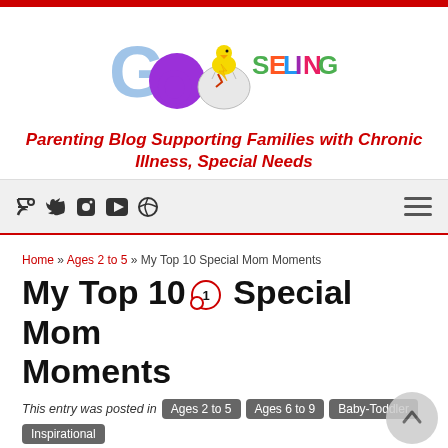[Figure (logo): Gooseling logo with colorful text and baby chick hatching from egg]
Parenting Blog Supporting Families with Chronic Illness, Special Needs
[Figure (other): Navigation bar with social media icons (RSS, Twitter, Facebook, YouTube, Pinterest) and hamburger menu]
Home » Ages 2 to 5 » My Top 10 Special Mom Moments
My Top 10 Special Mom Moments
This entry was posted in Ages 2 to 5 | Ages 6 to 9 | Baby-Toddler | Inspirational and tagged family on July 22, 2014 by Lisa Danielpour